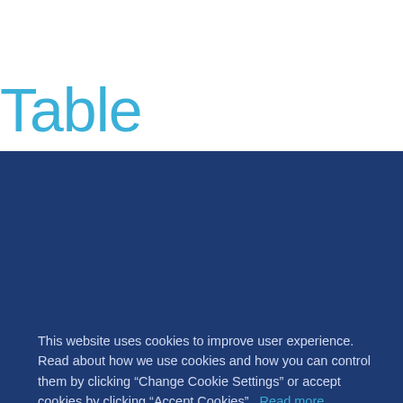Table
This website uses cookies to improve user experience. Read about how we use cookies and how you can control them by clicking “Change Cookie Settings” or accept cookies by clicking “Accept Cookies”. Read more
Accept Cookies
Change Cookie Settings